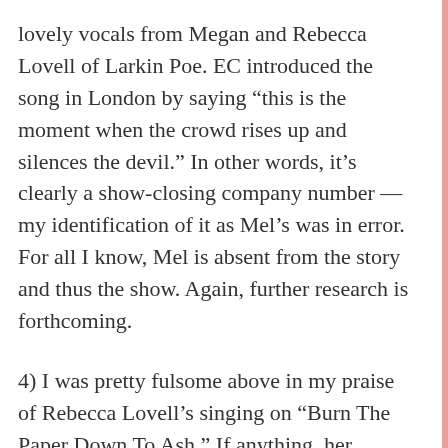lovely vocals from Megan and Rebecca Lovell of Larkin Poe. EC introduced the song in London by saying “this is the moment when the crowd rises up and silences the devil.” In other words, it’s clearly a show-closing company number — my identification of it as Mel’s was in error. For all I know, Mel is absent from the story and thus the show. Again, further research is forthcoming.
4) I was pretty fulsome above in my praise of Rebecca Lovell’s singing on “Burn The Paper Down To Ash.” If anything, her readings of the song have only gotten stronger. What I neglected to point out was